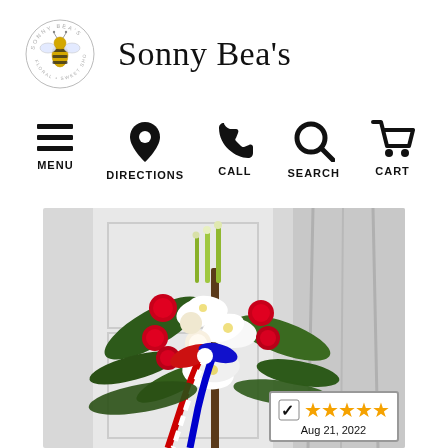[Figure (logo): Sonny Bea's circular logo with a bee illustration and text around the border]
Sonny Bea's
MENU
DIRECTIONS
CALL
SEARCH
CART
[Figure (photo): A floral arrangement with white lilies, red carnations, and greenery with a red, white, and blue ribbon, displayed on a stand against a white background. A 5-star rating badge dated Aug 21, 2022 is overlaid in the bottom-right corner.]